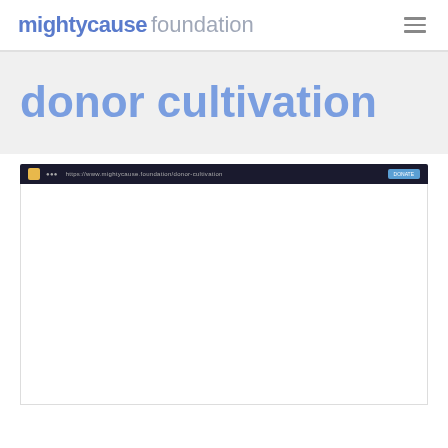mightycause foundation
donor cultivation
[Figure (screenshot): A browser screenshot preview showing a dark navigation bar with a favicon, URL text, and a blue action button on the right.]